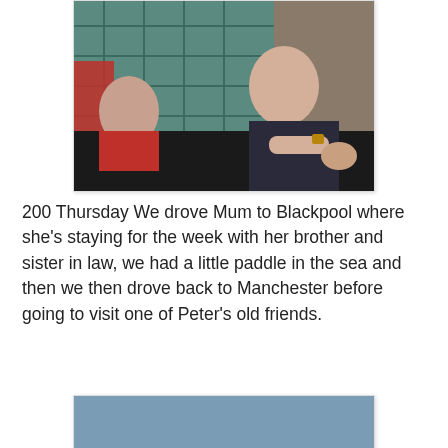[Figure (photo): Two people sitting at a dark table with a teal/green plaid curtain in the background; one person wearing red, one wearing a dark polo shirt with a watch.]
200 Thursday We drove Mum to Blackpool where she's staying for the week with her brother and sister in law, we had a little paddle in the sea and then we then drove back to Manchester before going to visit one of Peter's old friends.
[Figure (photo): Beach scene showing two pairs of bare feet in the sand with the sea and waves visible in the background.]